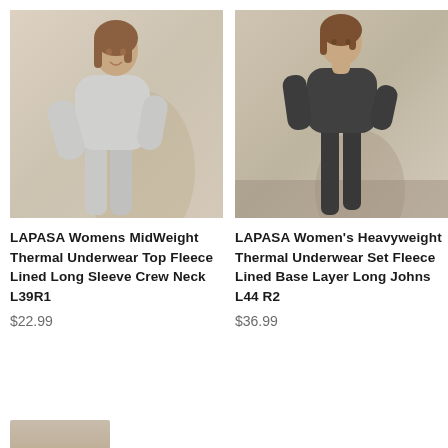[Figure (photo): Woman wearing light grey thermal underwear set (long sleeve top and leggings) posed against a beige wall]
[Figure (photo): Woman wearing dark charcoal/grey thermal underwear set (long sleeve top and leggings) standing against a beige background on grey carpet]
LAPASA Womens MidWeight Thermal Underwear Top Fleece Lined Long Sleeve Crew Neck L39R1
$22.99
LAPASA Women's Heavyweight Thermal Underwear Set Fleece Lined Base Layer Long Johns L44 R2
$36.99
[Figure (photo): Partial view of another product photo at the bottom of the page]